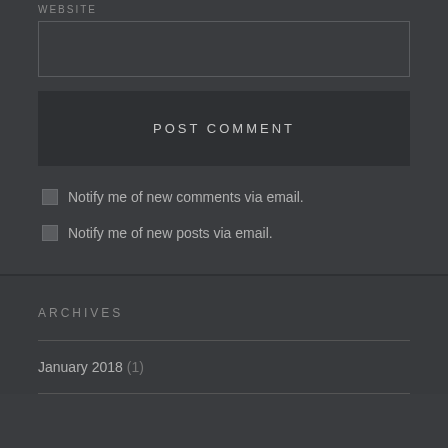WEBSITE
POST COMMENT
Notify me of new comments via email.
Notify me of new posts via email.
ARCHIVES
January 2018 (1)